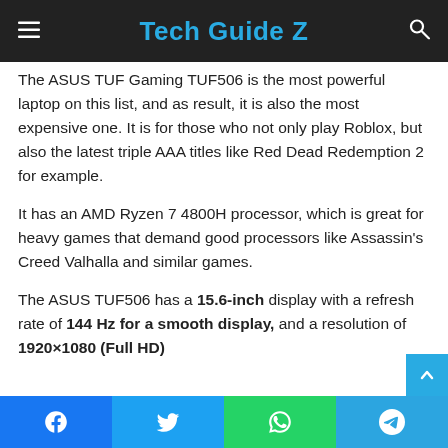Tech Guide Z
The ASUS TUF Gaming TUF506 is the most powerful laptop on this list, and as result, it is also the most expensive one. It is for those who not only play Roblox, but also the latest triple AAA titles like Red Dead Redemption 2 for example.
It has an AMD Ryzen 7 4800H processor, which is great for heavy games that demand good processors like Assassin's Creed Valhalla and similar games.
The ASUS TUF506 has a 15.6-inch display with a refresh rate of 144 Hz for a smooth display, and a resolution of 1920×1080 (Full HD)
Facebook | Twitter | WhatsApp | Telegram